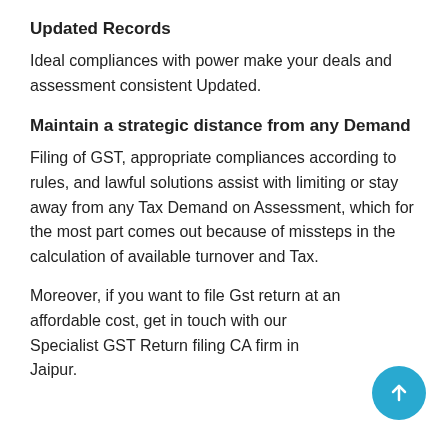Updated Records
Ideal compliances with power make your deals and assessment consistent Updated.
Maintain a strategic distance from any Demand
Filing of GST, appropriate compliances according to rules, and lawful solutions assist with limiting or stay away from any Tax Demand on Assessment, which for the most part comes out because of missteps in the calculation of available turnover and Tax.
Moreover, if you want to file Gst return at an affordable cost, get in touch with our Specialist GST Return filing CA firm in Jaipur.